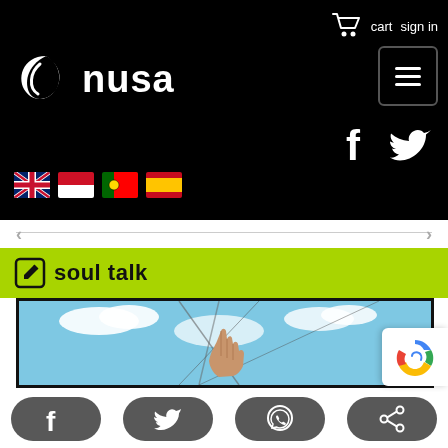nusa — cart  sign in
[Figure (logo): Nusa brand logo: white wave/leaf icon with text 'nusa' on black background]
[Figure (infographic): Language flag icons: UK, Indonesia, Portugal, Spain]
[Figure (infographic): Social media icons: Facebook and Twitter in white on black background]
soul talk
[Figure (photo): Photo of a hand against a blue sky with structural cables/beams visible]
[Figure (infographic): Bottom share bar with Facebook, Twitter, WhatsApp, and share icons]